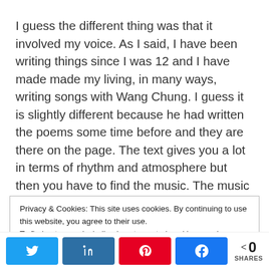I guess the different thing was that it involved my voice. As I said, I have been writing things since I was 12 and I have made made my living, in many ways, writing songs with Wang Chung. I guess it is slightly different because he had written the poems some time before and they are there on the page. The text gives you a lot in terms of rhythm and atmosphere but then you have to find the music. The music was almost downloading or channeling for me. I didn't feel I was exactly having to write it myselfIt felt as if I
Privacy & Cookies: This site uses cookies. By continuing to use this website, you agree to their use.
To find out more, including how to control cookies, see here: Cookie Policy
0 SHARES